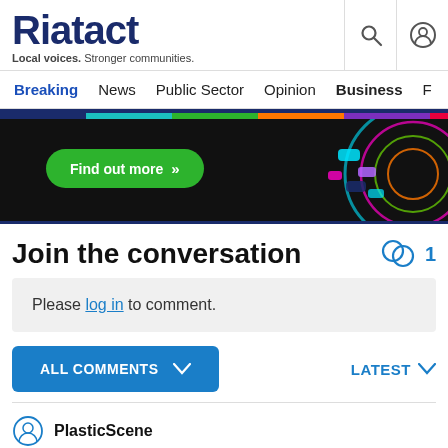Riotact — Local voices. Stronger communities.
Breaking  News  Public Sector  Opinion  Business
[Figure (screenshot): Advertisement banner with dark background, neon circular graphics on right, and a green 'Find out more »' button. A colored bar (blue, teal, green, orange, purple, red) runs across the top.]
Join the conversation
Please log in to comment.
ALL COMMENTS   LATEST
PlasticScene